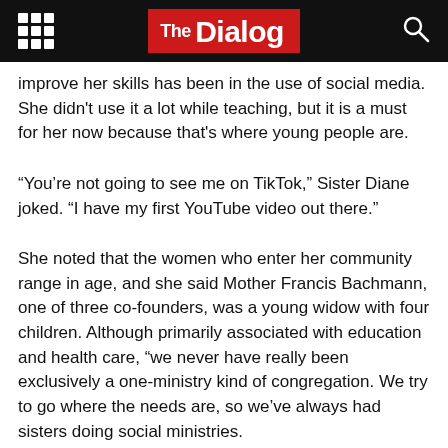The Dialog
improve her skills has been in the use of social media. She didn't use it a lot while teaching, but it is a must for her now because that's where young people are.
“You’re not going to see me on TikTok,” Sister Diane joked. “I have my first YouTube video out there.”
She noted that the women who enter her community range in age, and she said Mother Francis Bachmann, one of three co-founders, was a young widow with four children. Although primarily associated with education and health care, “we never have really been exclusively a one-ministry kind of congregation. We try to go where the needs are, so we’ve always had sisters doing social ministries.
“We have a very strong advocacy ministry. We have two sisters working in Washington, D.C., with the Franciscan Action Network, advocating for Catholic social teaching approaches in the public